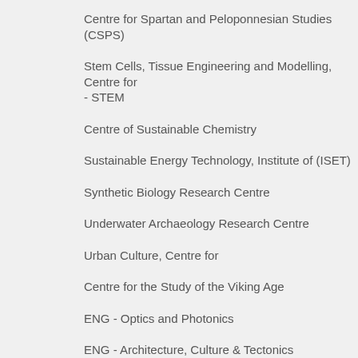Centre for Spartan and Peloponnesian Studies (CSPS)
Stem Cells, Tissue Engineering and Modelling, Centre for - STEM
Centre of Sustainable Chemistry
Sustainable Energy Technology, Institute of (ISET)
Synthetic Biology Research Centre
Underwater Archaeology Research Centre
Urban Culture, Centre for
Centre for the Study of the Viking Age
ENG - Optics and Photonics
ENG - Architecture, Culture & Tectonics
ENG - Architecture, Energy & Environment
ENG - Bioengineering
ENG - Bioprocess, Environmental & Chemical Technologies